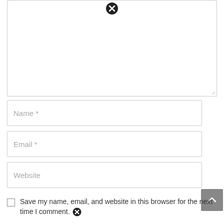[Figure (screenshot): A large textarea input field (comment box) with a close/remove icon (circle with X) at the top center, and a resize handle at the bottom right corner.]
Name *
Email *
Website
[Figure (other): Dark gray scroll-to-top button with an upward caret/arrow (^) symbol.]
Save my name, email, and website in this browser for the next time I comment.